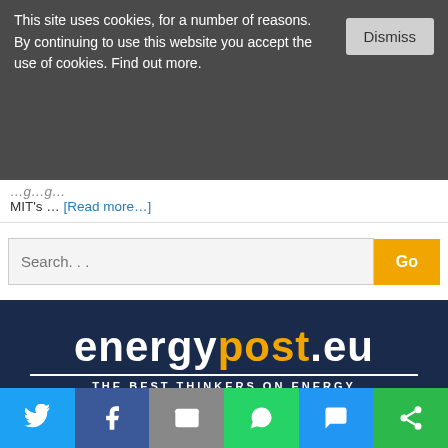This site uses cookies, for a number of reasons. By continuing to use this website you accept the use of cookies. Find out more.
MIT's ... [Read more...]
Search...
[Figure (logo): energypost.eu logo with tagline THE BEST THINKERS ON ENERGY and Platform text on dark navy background]
[Figure (infographic): Social sharing bar with Twitter, Facebook, Email, WhatsApp, SMS, and Share icons]